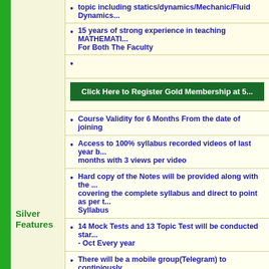topic including statics/dynamics/Mechanic/Fluid Dynamics...
15 years of strong experience in teaching MATHEMATICS For Both The Faculty
Click Here to Register Gold Membership at 5...
Course Validity for 6 Months From the date of joining
Access to 100% syllabus recorded videos of last year b... months with 3 views per video
Hard copy of the Notes will be provided along with the ... covering the complete syllabus and direct to point as per ... Syllabus
14 Mock Tests and 13 Topic Test will be conducted star... - Oct Every year
Silver Features
There will be a mobile group(Telegram) to continiously ... students
All the mock tests will be evaluated and individual perfo... be given